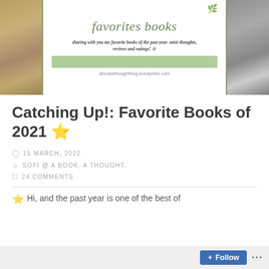[Figure (illustration): Blog banner for 'favorites books' with handwritten-style green cursive title, subtitle text 'sharing with you my favorite books of the past year: mini-thoughts, reviews and ratings! ☆', URL 'abookathoughtblog.wordpress.com', flanked by photos of a wicker chair and a book on the left and right sides.]
Catching Up!: Favorite Books of 2021 ⭐
15 MARCH, 2022
SOFI @ A BOOK. A THOUGHT.
24 COMMENTS
⭐ Hi, and the past year is one of the best...